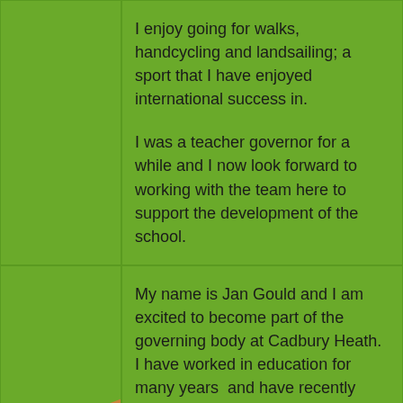I enjoy going for walks, handcycling and landsailing; a sport that I have enjoyed international success in.

I was a teacher governor for a while and I now look forward to working with the team here to support the development of the school.
My name is Jan Gould and I am excited to become part of the governing body at Cadbury Heath. I have worked in education for many years  and have recently retired as an early years teacher in a nearby school. I am passionate about education and believe that all children are
[Figure (photo): Photo of a woman with blonde hair (Jan Gould), partially visible in bottom-left corner, with a brown/orange triangular background and a badge with the letter C and a star/cog shape.]